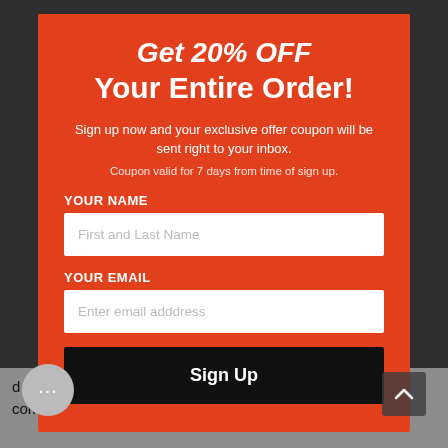Get 20% OFF Your Entire Order!
Sign up now and your exclusive offer coupon will be sent right to your inbox.
Coupon valid for 7 days from time of sign up.
YOUR NAME
First and Last Name
YOUR EMAIL
Enter email adddress
Sign Up
d lateral support to keep the skates fitting comfortably on your feet. There is a highly